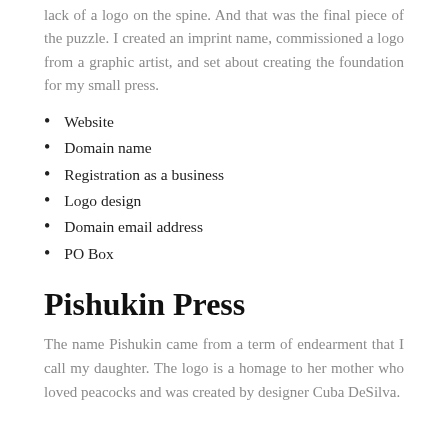lack of a logo on the spine. And that was the final piece of the puzzle. I created an imprint name, commissioned a logo from a graphic artist, and set about creating the foundation for my small press.
Website
Domain name
Registration as a business
Logo design
Domain email address
PO Box
Pishukin Press
The name Pishukin came from a term of endearment that I call my daughter. The logo is a homage to her mother who loved peacocks and was created by designer Cuba DeSilva.